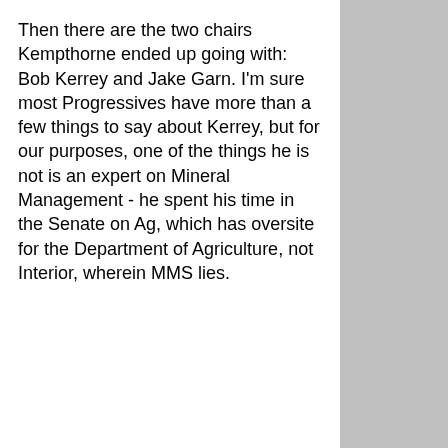Then there are the two chairs Kempthorne ended up going with: Bob Kerrey and Jake Garn. I'm sure most Progressives have more than a few things to say about Kerrey, but for our purposes, one of the things he is not is an expert on Mineral Management - he spent his time in the Senate on Ag, which has oversite for the Department of Agriculture, not Interior, wherein MMS lies.